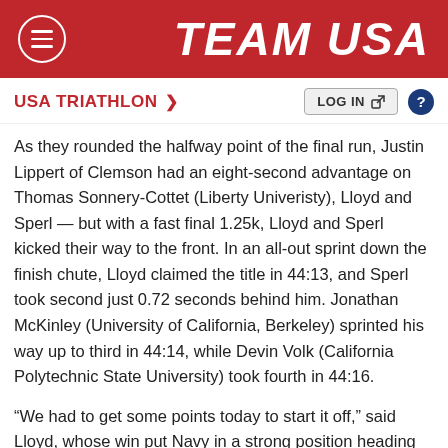TEAM USA
USA TRIATHLON >
As they rounded the halfway point of the final run, Justin Lippert of Clemson had an eight-second advantage on Thomas Sonnery-Cottet (Liberty Univeristy), Lloyd and Sperl — but with a fast final 1.25k, Lloyd and Sperl kicked their way to the front. In an all-out sprint down the finish chute, Lloyd claimed the title in 44:13, and Sperl took second just 0.72 seconds behind him. Jonathan McKinley (University of California, Berkeley) sprinted his way up to third in 44:14, while Devin Volk (California Polytechnic State University) took fourth in 44:16.
“We had to get some points today to start it off,” said Lloyd, whose win put Navy in a strong position heading into the second Championship race. “Most events...